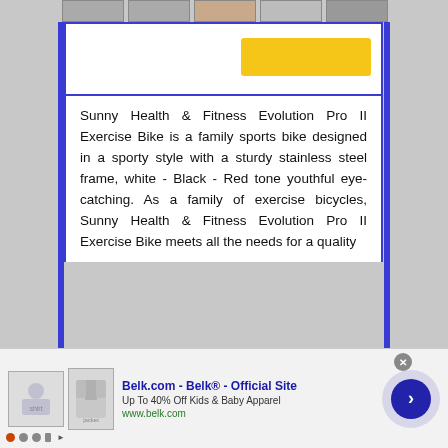Sunny Health & Fitness Evolution Pro II Exercise Bike is a family sports bike designed in a sporty style with a sturdy stainless steel frame, white - Black - Red tone youthful eye-catching. As a family of exercise bicycles, Sunny Health & Fitness Evolution Pro II Exercise Bike meets all the needs for a quality
[Figure (screenshot): Advertisement banner for Belk.com showing children's clothing with text 'Belk.com - Belk® - Official Site', 'Up To 40% Off Kids & Baby Apparel', 'www.belk.com']